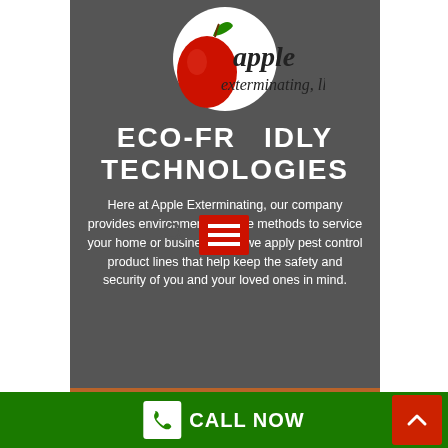[Figure (logo): Apple Exterminating LLC logo - red apple with green leaf on white circular background with company name text]
ECO-FRIENDLY TECHNOLOGIES
Here at Apple Exterminating, our company provides environmentally-safe methods to service your home or business, and we apply pest control product lines that help keep the safety and security of you and your loved ones in mind.
CALL NOW